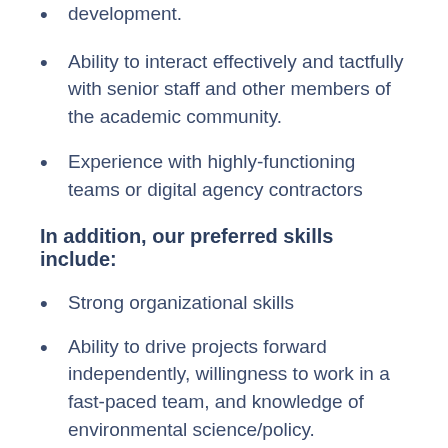development.
Ability to interact effectively and tactfully with senior staff and other members of the academic community.
Experience with highly-functioning teams or digital agency contractors
In addition, our preferred skills include:
Strong organizational skills
Ability to drive projects forward independently, willingness to work in a fast-paced team, and knowledge of environmental science/policy.
Quick response to news-driven events, and proven ability to write succinctly and create simple video for the web and social media